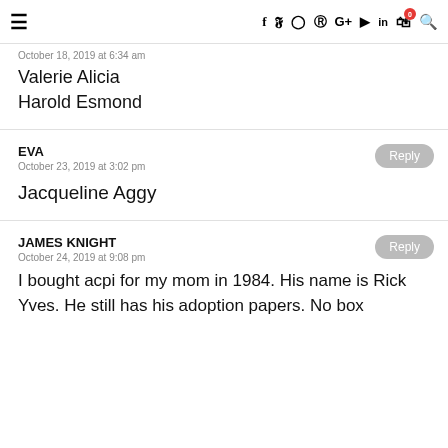≡ f y ℹ ℗ G+ ▶ in 🛒0 🔍
October 18, 2019 at 6:34 am
Valerie Alicia
Harold Esmond
EVA
October 23, 2019 at 3:02 pm
Jacqueline Aggy
JAMES KNIGHT
October 24, 2019 at 9:08 pm
I bought acpi for my mom in 1984. His name is Rick Yves. He still has his adoption papers. No box